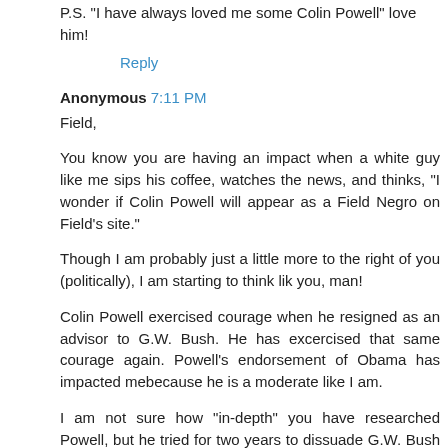P.S. "I have always loved me some Colin Powell" love him!
Reply
Anonymous 7:11 PM
Field,
You know you are having an impact when a white guy like me sips his coffee, watches the news, and thinks, "I wonder if Colin Powell will appear as a Field Negro on Field's site."
Though I am probably just a little more to the right of you (politically), I am starting to think lik you, man!
Colin Powell exercised courage when he resigned as an advisor to G.W. Bush. He has excercised that same courage again. Powell's endorsement of Obama has impacted mebecause he is a moderate like I am.
I am not sure how "in-depth" you have researched Powell, but he tried for two years to dissuade G.W. Bush from going into Iraq.